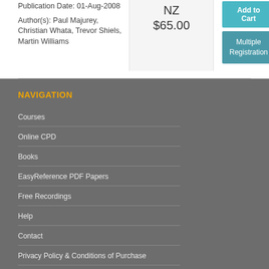Publication Date: 01-Aug-2008
Author(s): Paul Majurey, Christian Whata, Trevor Shiels, Martin Williams
NZ $65.00
Add to Cart
Multiple Registration
NAVIGATION
Courses
Online CPD
Books
EasyReference PDF Papers
Free Recordings
Help
Contact
Privacy Policy & Conditions of Purchase